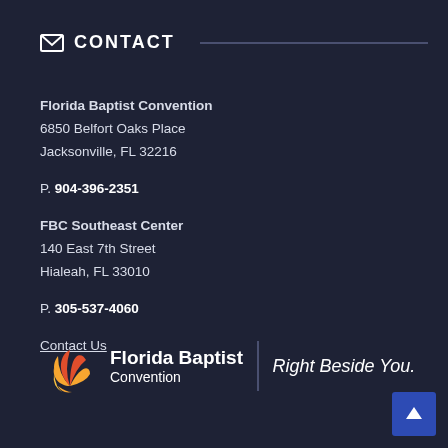CONTACT
Florida Baptist Convention
6850 Belfort Oaks Place
Jacksonville, FL 32216
P. 904-396-2351
FBC Southeast Center
140 East 7th Street
Hialeah, FL 33010
P. 305-537-4060
Contact Us
[Figure (logo): Florida Baptist Convention logo with shell/fan icon in orange and red, text 'Florida Baptist Convention' and tagline 'Right Beside You.']